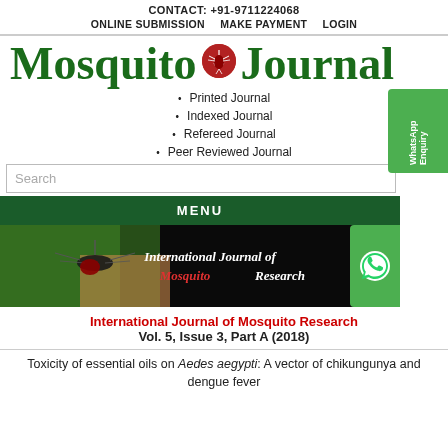CONTACT: +91-9711224068
ONLINE SUBMISSION   MAKE PAYMENT   LOGIN
Mosquito Journal
Printed Journal
Indexed Journal
Refereed Journal
Peer Reviewed Journal
MENU
[Figure (photo): Banner image showing a mosquito feeding on skin with text 'International Journal of Mosquito Research' overlaid on dark background]
International Journal of Mosquito Research
Vol. 5, Issue 3, Part A (2018)
Toxicity of essential oils on Aedes aegypti: A vector of chikungunya and dengue fever